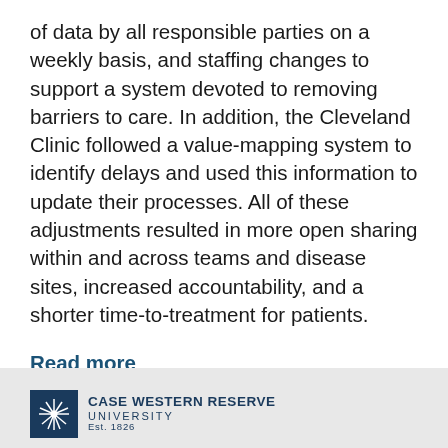of data by all responsible parties on a weekly basis, and staffing changes to support a system devoted to removing barriers to care. In addition, the Cleveland Clinic followed a value-mapping system to identify delays and used this information to update their processes. All of these adjustments resulted in more open sharing within and across teams and disease sites, increased accountability, and a shorter time-to-treatment for patients.
Read more
[Figure (logo): Case Western Reserve University logo with sunburst icon and university name]